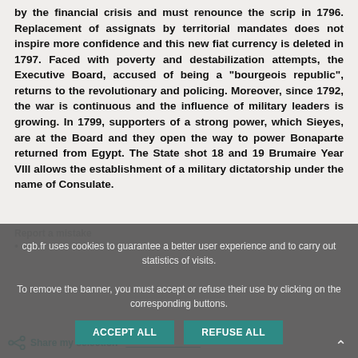by the financial crisis and must renounce the scrip in 1796. Replacement of assignats by territorial mandates does not inspire more confidence and this new fiat currency is deleted in 1797. Faced with poverty and destabilization attempts, the Executive Board, accused of being a "bourgeois republic", returns to the revolutionary and policing. Moreover, since 1792, the war is continuous and the influence of military leaders is growing. In 1799, supporters of a strong power, which Sieyes, are at the Board and they open the way to power Bonaparte returned from Egypt. The State shot 18 and 19 Brumaire Year VIII allows the establishment of a military dictatorship under the name of Consulate.
cgb.fr uses cookies to guarantee a better user experience and to carry out statistics of visits.
To remove the banner, you must accept or refuse their use by clicking on the corresponding buttons.